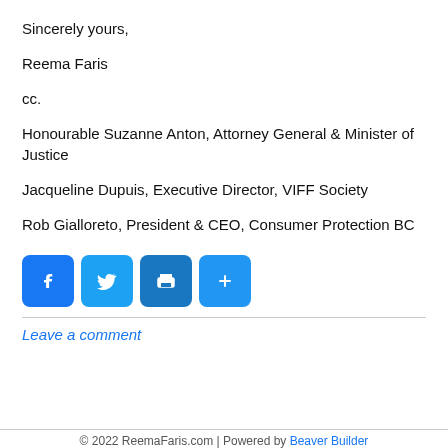Sincerely yours,
Reema Faris
cc.
Honourable Suzanne Anton, Attorney General & Minister of Justice
Jacqueline Dupuis, Executive Director, VIFF Society
Rob Gialloreto, President & CEO, Consumer Protection BC
[Figure (other): Social media share buttons: Facebook, Twitter, Print, Share (blue rounded square icons)]
Leave a comment
© 2022 ReemaFaris.com | Powered by Beaver Builder